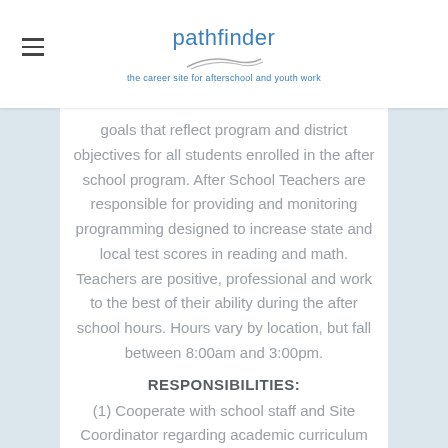pathfinder — the career site for afterschool and youth work
goals that reflect program and district objectives for all students enrolled in the after school program. After School Teachers are responsible for providing and monitoring programming designed to increase state and local test scores in reading and math. Teachers are positive, professional and work to the best of their ability during the after school hours. Hours vary by location, but fall between 8:00am and 3:00pm.
RESPONSIBILITIES:
(1) Cooperate with school staff and Site Coordinator regarding academic curriculum and information.